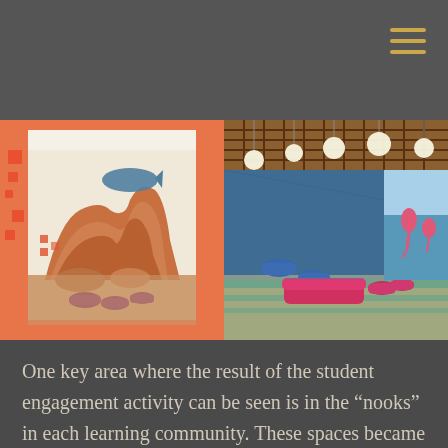[Figure (photo): Left photo: interior room with orange walls, large whimsical desert/canyon mural with a whale, colorful geometric shapes, and purple/maroon seating stools on patterned carpet.]
[Figure (photo): Right photo: large open learning space with a latticed wood ceiling with globe pendant lights, teal and pink modular furniture, and a large ocean-themed mural on the right wall with pink flamingos.]
One key area where the result of the student engagement activity can be seen is in the “nooks” in each learning community. These spaces became the perfect opportunity for large-scale graphics that built upon whimsical interpretations of the habitat theme. The graphics combine abstraction and realism, out of scale and out of place elements to